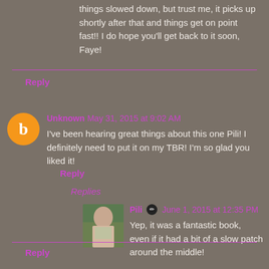things slowed down, but trust me, it picks up shortly after that and things get on point fast!! I do hope you'll get back to it soon, Faye!
Reply
Unknown May 31, 2015 at 9:02 AM
I've been hearing great things about this one Pili! I definitely need to put it on my TBR! I'm so glad you liked it!
Reply
Replies
Pili June 1, 2015 at 12:35 PM
Yep, it was a fantastic book, even if it had a bit of a slow patch around the middle!
Reply